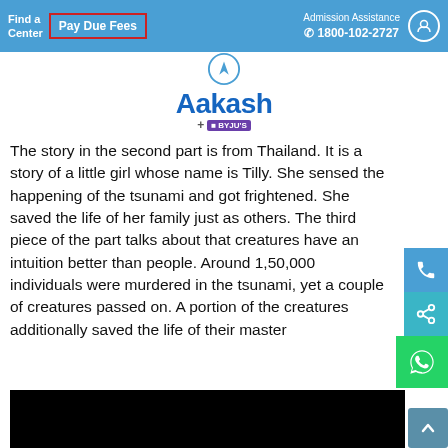Find a Center | Pay Due Fees | Admission Assistance 1800-102-2727
[Figure (logo): Aakash BYJU'S logo with circular icon above the stylized text]
The story in the second part is from Thailand. It is a story of a little girl whose name is Tilly. She sensed the happening of the tsunami and got frightened. She saved the life of her family just as others. The third piece of the part talks about that creatures have an intuition better than people. Around 1,50,000 individuals were murdered in the tsunami, yet a couple of creatures passed on. A portion of the creatures additionally saved the life of their masters.
[Figure (screenshot): Black video player area embedded in the page]